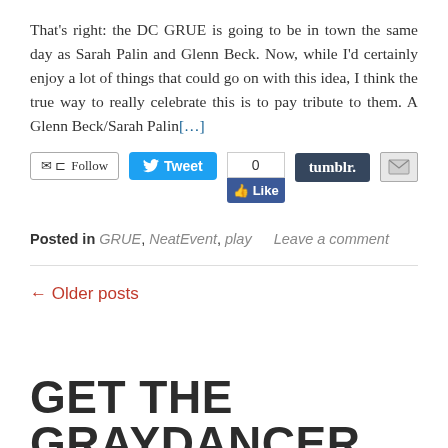That's right: the DC GRUE is going to be in town the same day as Sarah Palin and Glenn Beck. Now, while I'd certainly enjoy a lot of things that could go on with this idea, I think the true way to really celebrate this is to pay tribute to them. A Glenn Beck/Sarah Palin[...]
[Figure (screenshot): Social sharing buttons: Follow (email/RSS), Tweet (Twitter blue button), Facebook like counter showing 0 with Like button, Tumblr dark button, email icon]
Posted in GRUE, NeatEvent, play   Leave a comment
← Older posts
GET THE GRAYDANCER